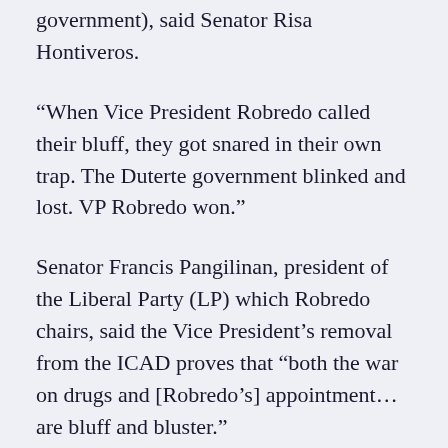government), said Senator Risa Hontiveros.
“When Vice President Robredo called their bluff, they got snared in their own trap. The Duterte government blinked and lost. VP Robredo won.”
Senator Francis Pangilinan, president of the Liberal Party (LP) which Robredo chairs, said the Vice President’s removal from the ICAD proves that “both the war on drugs and [Robredo’s] appointment…are bluff and bluster.”
He added that the government’s “scheme to make VP Leni look weak backfired.”
“Pinatunayan din nitong pagtanggal kay VP Leni na wala silang isang salita. Sa katunayan, ‘yung palpak na war on drugs ginawa nilang war on…